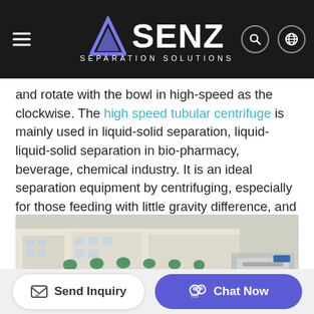SENZ SEPARATION SOLUTIONS
and rotate with the bowl in high-speed as the clockwise. The high speed tubular centrifuge is mainly used in liquid-solid separation, liquid-liquid-solid separation in bio-pharmacy, beverage, chemical industry. It is an ideal separation equipment by centrifuging, especially for those feeding with little gravity difference, and small dimension in diameter.
[Figure (photo): Multiple stainless steel tubular centrifuge units lined up on wooden pallets in an outdoor factory yard, with a large grey electrical control cabinet on the right. A red forklift is visible in the background on the left.]
Send Inquiry | Chat Now